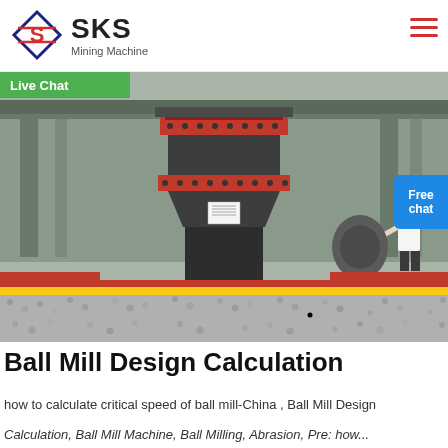SKS Mining Machine
[Figure (photo): Industrial mining machine (cone crusher) in a factory setting, surrounded by small grey pellets/gravel on the floor. A person in white stands to the right side.]
Ball Mill Design Calculation
how to calculate critical speed of ball mill-China , Ball Mill Design
Calculation, Ball Mill Machine, Ball Milling, Abrasion, Pre: how...